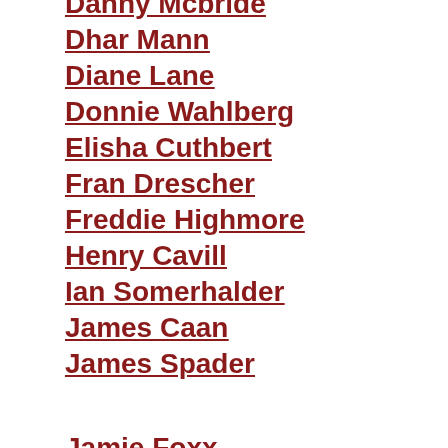Danny Mcbride
Dhar Mann
Diane Lane
Donnie Wahlberg
Elisha Cuthbert
Fran Drescher
Freddie Highmore
Henry Cavill
Ian Somerhalder
James Caan
James Spader
Jamie Foxx
Jason Bateman
Jason Statham
Jenna Fischer